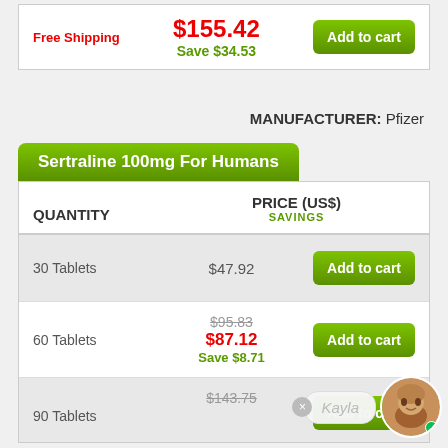$155.42
Free Shipping
Save $34.53
Add to cart
MANUFACTURER: Pfizer
Sertraline 100mg For Humans
| QUANTITY | PRICE (US$) / SAVINGS |  |
| --- | --- | --- |
| 30 Tablets | $47.92 | Add to cart |
| 60 Tablets | $95.83 / $87.12 / Save $8.71 | Add to cart |
| 90 Tablets | $143.75 | Add to cart |